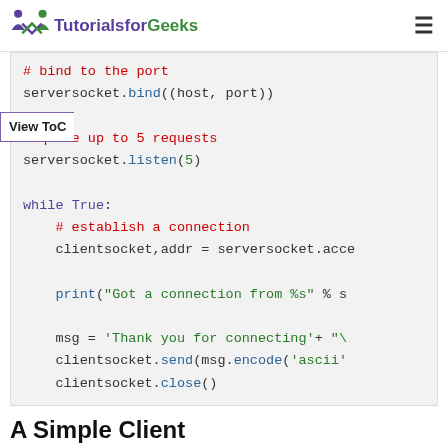TutorialsforGeeks
View ToC
[Figure (screenshot): Python code block showing socket server code: bind to port, listen, while True loop with accept, print, send and close.]
A Simple Client
Let us write a very simple client program which